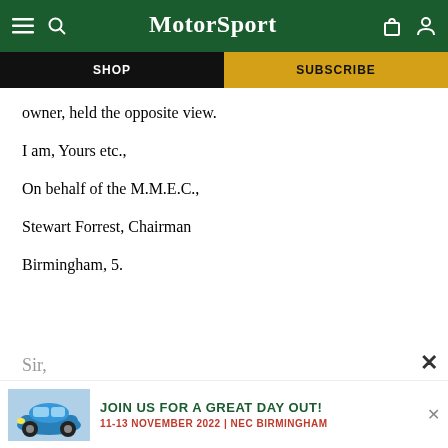MotorSport — SHOP | SUBSCRIBE
owner, held the opposite view.
I am, Yours etc.,
On behalf of the M.M.E.C.,
Stewart Forrest, Chairman
Birmingham, 5.
Sir,
[Figure (infographic): Advertisement banner: blue Porsche 911 car image on left, text 'JOIN US FOR A GREAT DAY OUT! 11-13 NOVEMBER 2022 | NEC BIRMINGHAM' in green and red on right, with a dismiss X button]